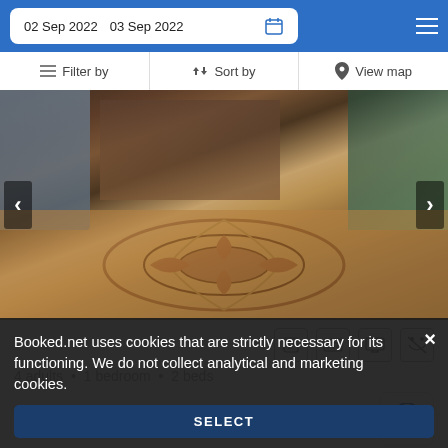02 Sep 2022  03 Sep 2022
Filter by  Sort by  View map
[Figure (photo): Interior room photo showing a bed, wooden furniture, and a decorative Persian-style rug on the floor with sunlight coming through a window.]
4 adults · 1 bedroom · 2 beds
4.5 mi from City Center
Located about 1.8 miles from Stara Kapliczka, the farm stay...
Booked.net uses cookies that are strictly necessary for its functioning. We do not collect analytical and marketing cookies.